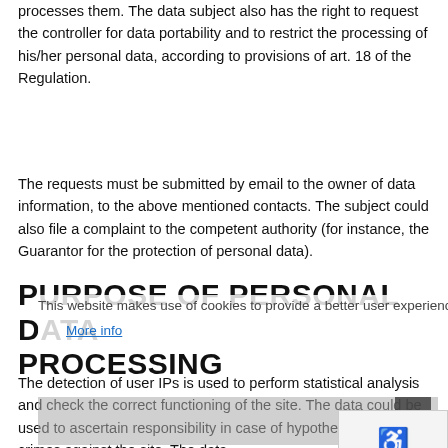processes them. The data subject also has the right to request the controller for data portability and to restrict the processing of his/her personal data, according to provisions of art. 18 of the Regulation.
The requests must be submitted by email to the owner of data information, to the above mentioned contacts. The subject could also file a complaint to the competent authority (for instance, the Guarantor for the protection of personal data).
PURPOSE OF PERSONAL DATA PROCESSING
This website makes use of cookies to provide a better user experience.
More info
The detection of user IPs is used to perform statistical analysis and check the correct functioning of the site. The data could be used to ascertain responsibility in case of hypothetical computer crimes against the site. The data